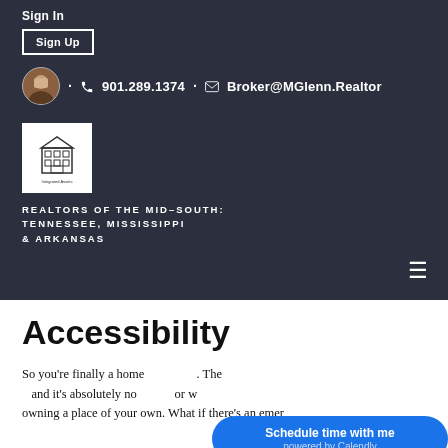Sign In
Sign Up
· 901.289.1374 · Broker@MGlenn.Realtor
[Figure (logo): Integrated Assets realty company logo with building icon]
REALTORS OF THE MID-SOUTH: TENNESSEE, MISSISSIPPI & ARKANSAS
Accessibility
So you're finally a homeowner! The and it's absolutely not or w owning a place of your own. What if there's an emer
Schedule time with me powered by Calendly